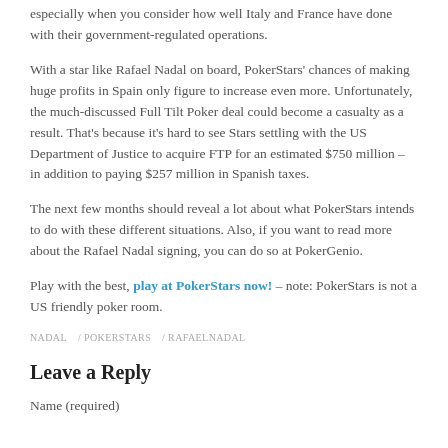especially when you consider how well Italy and France have done with their government-regulated operations.
With a star like Rafael Nadal on board, PokerStars' chances of making huge profits in Spain only figure to increase even more. Unfortunately, the much-discussed Full Tilt Poker deal could become a casualty as a result. That's because it's hard to see Stars settling with the US Department of Justice to acquire FTP for an estimated $750 million – in addition to paying $257 million in Spanish taxes.
The next few months should reveal a lot about what PokerStars intends to do with these different situations. Also, if you want to read more about the Rafael Nadal signing, you can do so at PokerGenio.
Play with the best, play at PokerStars now! – note: PokerStars is not a US friendly poker room.
NADAL / POKERSTARS / RAFAELNADAL
Leave a Reply
Name (required)